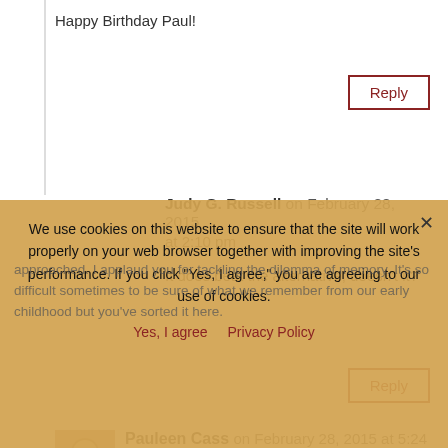Happy Birthday Paul!
Reply
Judy G. Russell on February 28, 2015 at 2:10 pm
It does beat the alternative, doesn't it?
Reply
Pauleen Cass on February 28, 2015 at 5:24 pm
We use cookies on this website to ensure that the site will work properly on your web browser together with improving the site's performance. If you click "Yes, I agree," you are agreeing to our use of cookies.
Yes, I agree
Privacy Policy